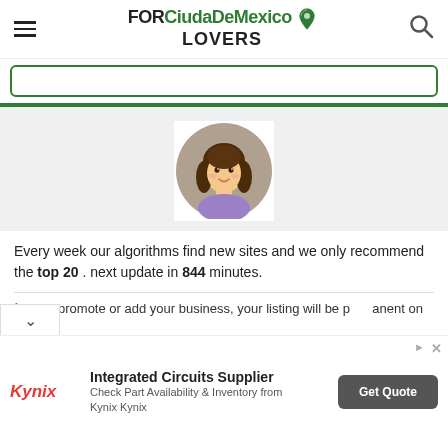FORCiudaDeMexico LOVERS
[Figure (illustration): Cartoon avatar of a young woman with brown hair, wearing a purple top, inside a circular frame with gray/taupe background]
Every week our algorithms find new sites and we only recommend the top 20 . next update in 844 minutes.
ℹ If you promote or add your business, your listing will be permanent on this list.
[Figure (illustration): Advertisement banner for Kynix Integrated Circuits Supplier with Get Quote button]